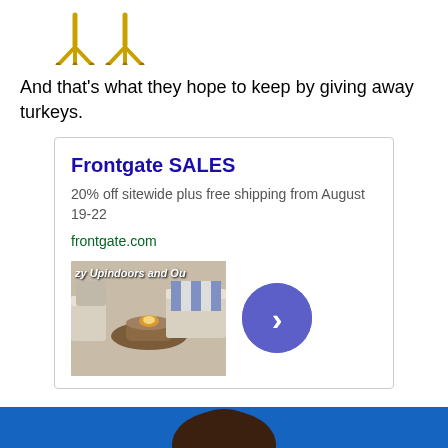[Figure (illustration): Two yellow/golden turkey feet/claws emoji icons side by side]
And that's what they hope to keep by giving away turkeys.
[Figure (screenshot): Advertisement for Frontgate SALES: '20% off sitewide plus free shipping from August 19-22', frontgate.com, with an image of outdoor furniture and a blue circular next arrow button]
[Figure (photo): A woman with dark hair against a blue background with white italic text partially visible reading 'that' and 'ment']